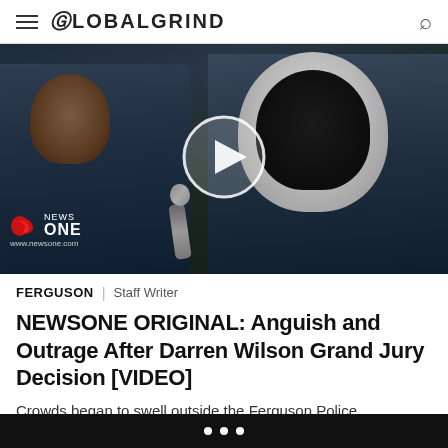GLOBALGRIND
[Figure (screenshot): Video thumbnail showing a news reporter interviewing a person wearing a black balaclava and white-hooded jacket outdoors at night. A large semi-transparent play button circle with triangle is overlaid in the center. The NewsOne logo and www.newsone.com URL appear in the lower left corner of the video.]
FERGUSON | Staff Writer
NEWSONE ORIGINAL: Anguish and Outrage After Darren Wilson Grand Jury Decision [VIDEO]
Crowds began to swell outside the Ferguson Police Department